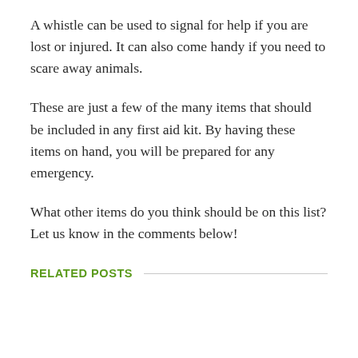A whistle can be used to signal for help if you are lost or injured. It can also come handy if you need to scare away animals.
These are just a few of the many items that should be included in any first aid kit. By having these items on hand, you will be prepared for any emergency.
What other items do you think should be on this list? Let us know in the comments below!
RELATED POSTS